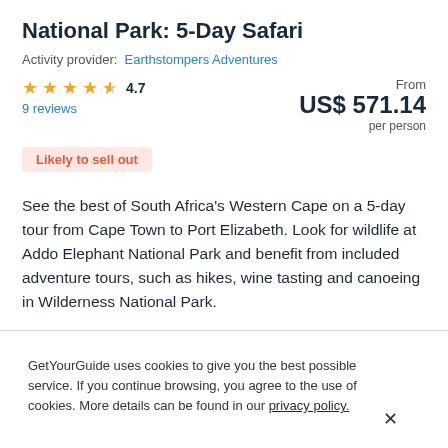National Park: 5-Day Safari
Activity provider: Earthstompers Adventures
★ ★ ★ ★ ½ 4.7
9 reviews
From US$ 571.14 per person
Likely to sell out
See the best of South Africa's Western Cape on a 5-day tour from Cape Town to Port Elizabeth. Look for wildlife at Addo Elephant National Park and benefit from included adventure tours, such as hikes, wine tasting and canoeing in Wilderness National Park.
GetYourGuide uses cookies to give you the best possible service. If you continue browsing, you agree to the use of cookies. More details can be found in our privacy policy.